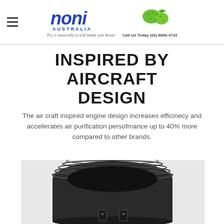[Figure (logo): Noni Australia logo with green noni fruit, tagline 'Try it naturally it will make you better', and phone number 'Call Us Today (02) 8006-4733']
INSPIRED BY AIRCRAFT DESIGN
The air craft inspired engine design increases efficinecy and accellerates air purification persofmance up to 40% more compared to other brands.
[Figure (photo): Close-up top view of a black cylindrical aircraft-inspired engine/air purifier component with threaded rim and hardware clips, on a white/grey background]